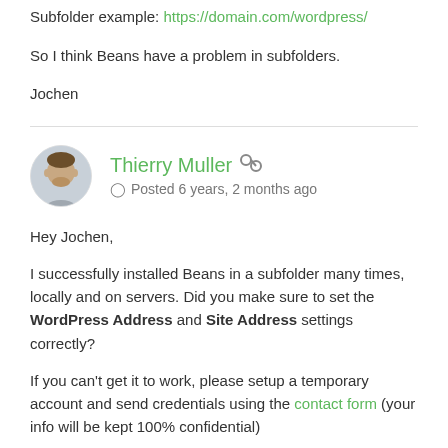Subfolder example: https://domain.com/wordpress/
So I think Beans have a problem in subfolders.
Jochen
Thierry Muller — Posted 6 years, 2 months ago
Hey Jochen,
I successfully installed Beans in a subfolder many times, locally and on servers. Did you make sure to set the WordPress Address and Site Address settings correctly?
If you can't get it to work, please setup a temporary account and send credentials using the contact form (your info will be kept 100% confidential)
Thanks,